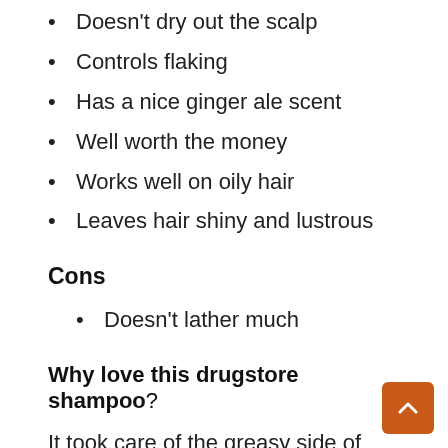Doesn't dry out the scalp
Controls flaking
Has a nice ginger ale scent
Well worth the money
Works well on oily hair
Leaves hair shiny and lustrous
Cons
Doesn't lather much
Why love this drugstore shampoo?
It took care of the greasy side of hair even after the first wash. It left a clean, refreshing sensation on scalp! You know the feeling when you know that you